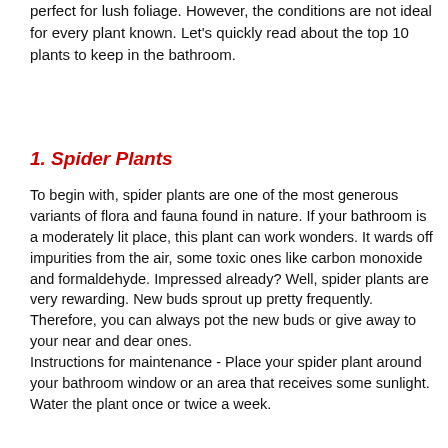perfect for lush foliage. However, the conditions are not ideal for every plant known. Let's quickly read about the top 10 plants to keep in the bathroom.
1. Spider Plants
To begin with, spider plants are one of the most generous variants of flora and fauna found in nature. If your bathroom is a moderately lit place, this plant can work wonders. It wards off impurities from the air, some toxic ones like carbon monoxide and formaldehyde. Impressed already? Well, spider plants are very rewarding. New buds sprout up pretty frequently. Therefore, you can always pot the new buds or give away to your near and dear ones.
Instructions for maintenance - Place your spider plant around your bathroom window or an area that receives some sunlight.  Water the plant once or twice a week.
[Figure (photo): Placeholder image area with a back-to-top button overlay and a partial image placeholder with a flower icon]